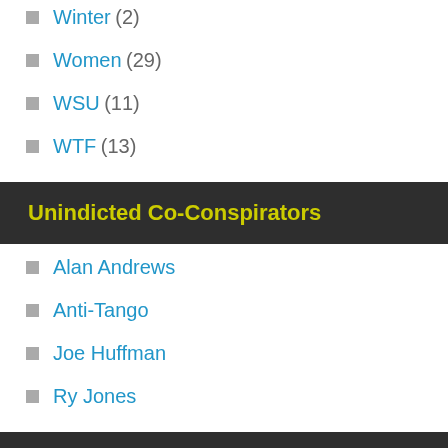Winter (2)
Women (29)
WSU (11)
WTF (13)
Unindicted Co-Conspirators
Alan Andrews
Anti-Tango
Joe Huffman
Ry Jones
Bloggers I've Met
A Girl and Her Gun